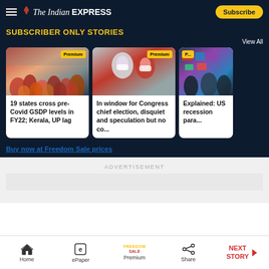The Indian Express — Subscribe
SUBSCRIBER ONLY STORIES
View All
[Figure (photo): Crowd of people wearing masks outdoors]
[Figure (photo): Two political figures wearing masks, one in red saree]
[Figure (photo): Stock market trading floor with screens]
19 states cross pre-Covid GSDP levels in FY22; Kerala, UP lag
In window for Congress chief election, disquiet and speculation but no co...
Explained: US recession para...
Buy now at Freedom Sale prices
ADVERTISEMENT
Home | ePaper | Premium | Share | NEXT STORY